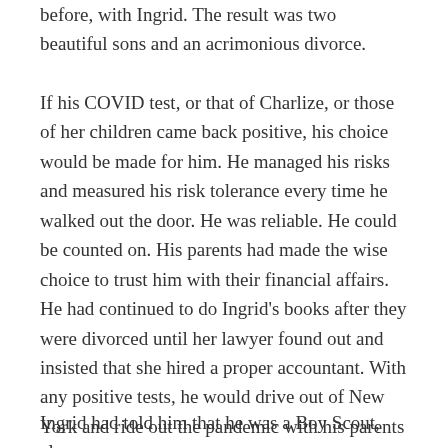before, with Ingrid. The result was two beautiful sons and an acrimonious divorce.
If his COVID test, or that of Charlize, or those of her children came back positive, his choice would be made for him. He managed his risks and measured his risk tolerance every time he walked out the door. He was reliable. He could be counted on. His parents had made the wise choice to trust him with their financial affairs. He had continued to do Ingrid's books after they were divorced until her lawyer found out and insisted that she hired a proper accountant. With any positive tests, he would drive out of New York and ride out the pandemic with his parents and sister Olympia near the Delaware Water Gap.
Ingrid had told him that he was a Boy Scout, always